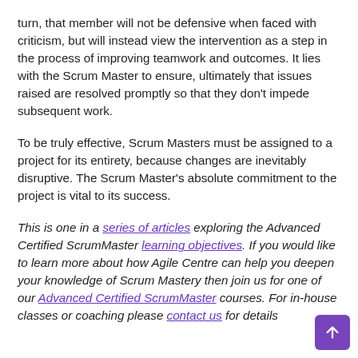turn, that member will not be defensive when faced with criticism, but will instead view the intervention as a step in the process of improving teamwork and outcomes. It lies with the Scrum Master to ensure, ultimately that issues raised are resolved promptly so that they don't impede subsequent work.
To be truly effective, Scrum Masters must be assigned to a project for its entirety, because changes are inevitably disruptive. The Scrum Master's absolute commitment to the project is vital to its success.
This is one in a series of articles exploring the Advanced Certified ScrumMaster learning objectives. If you would like to learn more about how Agile Centre can help you deepen your knowledge of Scrum Mastery then join us for one of our Advanced Certified ScrumMaster courses. For in-house classes or coaching please contact us for details.